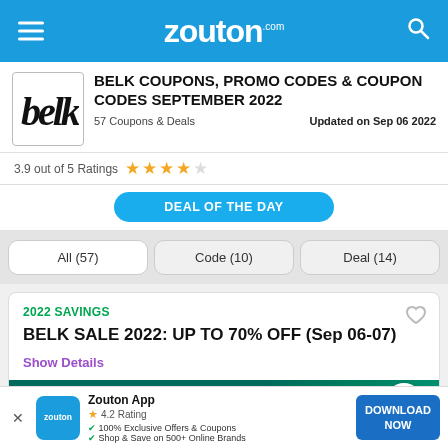zouton.com
BELK COUPONS, PROMO CODES & COUPON CODES SEPTEMBER 2022
57 Coupons & Deals   Updated on Sep 06 2022
3.9 out of 5 Ratings ★★★★☆
DEAL OF THE DAY
All (57)   Code (10)   Deal (14)
2022 SAVINGS
BELK SALE 2022: UP TO 70% OFF (Sep 06-07)
Show Details
VIEW DEAL
Zouton App  4.2 Rating  100% Exclusive Offers & Coupons  Shop & Save on 500+ Online Brands  DOWNLOAD NOW